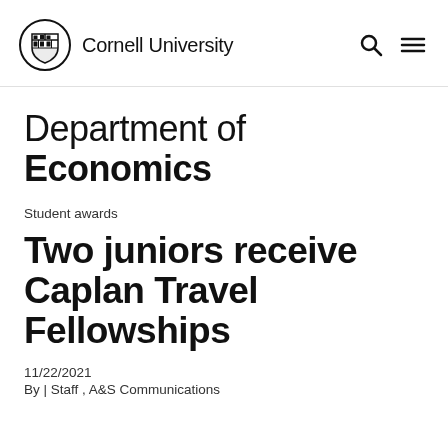Cornell University
Department of Economics
Student awards
Two juniors receive Caplan Travel Fellowships
11/22/2021
By | Staff , A&S Communications